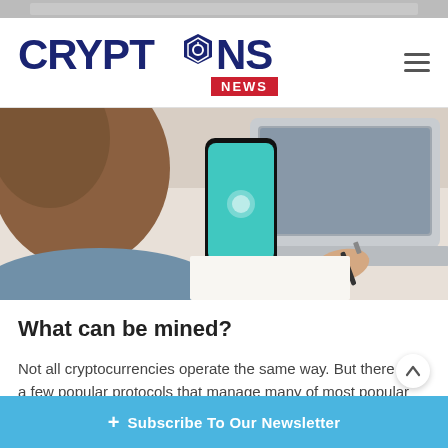[Figure (screenshot): Top banner strip partially visible at top of page]
CRYPTONS NEWS
[Figure (photo): Person holding a smartphone with teal/blue screen, writing on paper at a desk with a laptop visible in background]
What can be mined?
Not all cryptocurrencies operate the same way. But there are a few popular protocols that manage many of most popular cryp...
+ Subscribe To Our Newsletter